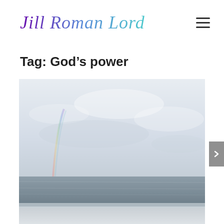Jill Roman Lord
Tag: God’s power
[Figure (photo): A seascape photograph showing a vast ocean with a pale grey-blue overcast sky and a faint rainbow visible on the left side of the image touching the water horizon. The foreground shows a white ship railing or snowy ledge.]